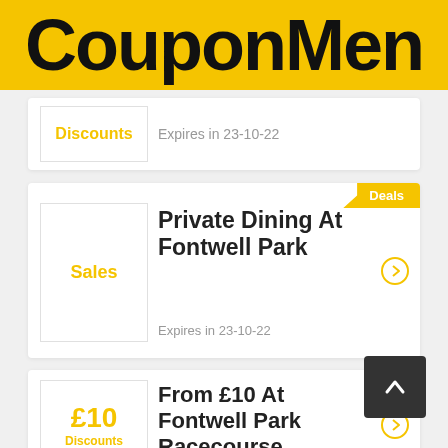CouponMen
Discounts — Expires in 23-10-22
Private Dining At Fontwell Park
Deals — Sales — Expires in 23-10-22
From £10 At Fontwell Park Racecourse
£10 — Discounts